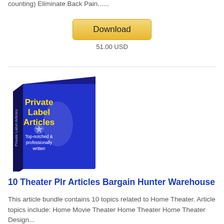counting) Eliminate Back Pain......
[Figure (other): Download button with golden/yellow gradient styling]
51.00 USD
[Figure (illustration): Blue box product image labeled 'Private Label Articles - Top-notched & professionally written']
10 Theater Plr Articles Bargain Hunter Warehouse
This article bundle contains 10 topics related to Home Theater. Article topics include: Home Movie Theater Home Theater Home Theater Design...